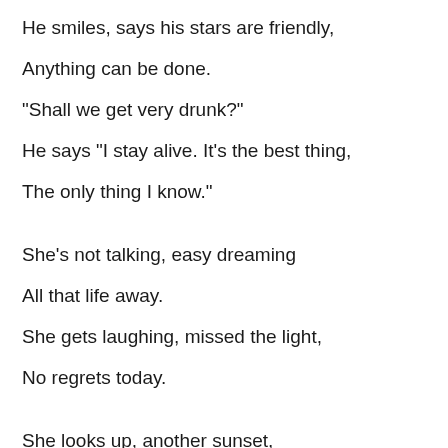He smiles, says his stars are friendly,
Anything can be done.
"Shall we get very drunk?"
He says "I stay alive. It's the best thing,
The only thing I know."

She's not talking, easy dreaming
All that life away.
She gets laughing, missed the light,
No regrets today.

She looks up, another sunset,
"Was it very very good?"
"Shall we get really high?"